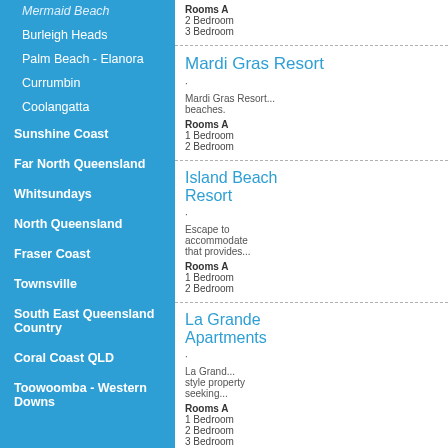Mermaid Beach
Burleigh Heads
Palm Beach - Elanora
Currumbin
Coolangatta
Sunshine Coast
Far North Queensland
Whitsundays
North Queensland
Fraser Coast
Townsville
South East Queensland Country
Coral Coast QLD
Toowoomba - Western Downs
Rooms A
2 Bedroom
3 Bedroom
Mardi Gras Resort
Mardi Gras Resort...beaches.
Rooms A
1 Bedroom
2 Bedroom
Island Beach Resort
Escape to accommodation that provides...
Rooms A
1 Bedroom
2 Bedroom
La Grande Apartments
La Grande style property seeking...
Rooms A
1 Bedroom
2 Bedroom
3 Bedroom
3 Bedroom